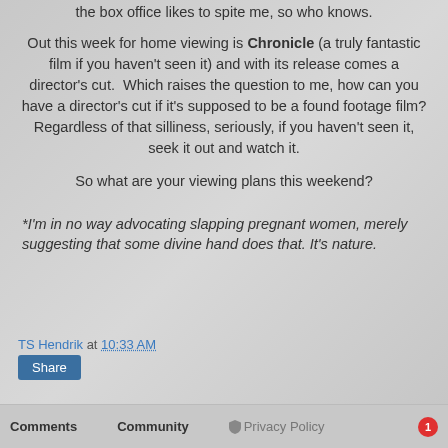the box office likes to spite me, so who knows.
Out this week for home viewing is Chronicle (a truly fantastic film if you haven't seen it) and with its release comes a director's cut.  Which raises the question to me, how can you have a director's cut if it's supposed to be a found footage film? Regardless of that silliness, seriously, if you haven't seen it, seek it out and watch it.
So what are your viewing plans this weekend?
*I'm in no way advocating slapping pregnant women, merely suggesting that some divine hand does that. It's nature.
TS Hendrik at 10:33 AM
Share
Comments   Community   Privacy Policy   1